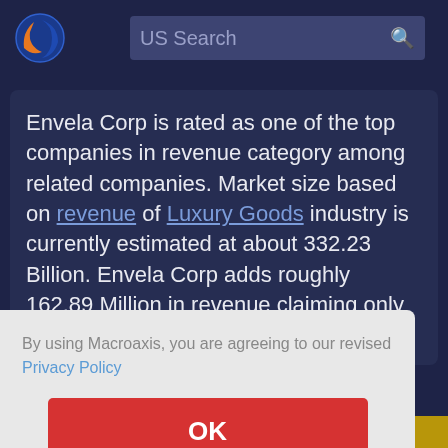[Figure (logo): Macroaxis globe logo with orange and blue colors]
US Search
Envela Corp is rated as one of the top companies in revenue category among related companies. Market size based on revenue of Luxury Goods industry is currently estimated at about 332.23 Billion. Envela Corp adds roughly 162.89 Million in revenue claiming only tiny
By using Macroaxis, you are agreeing to our revised Privacy Policy
OK